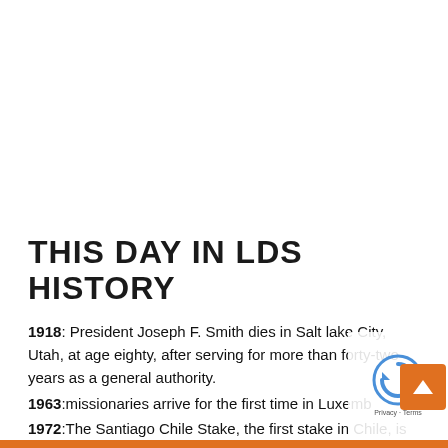THIS DAY IN LDS HISTORY
1918: President Joseph F. Smith dies in Salt lake City, Utah, at age eighty, after serving for more than forty-two years as a general authority.
1963:missionaries arrive for the first time in Luxemb…
1972:The Santiago Chile Stake, the first stake in Chile, is…